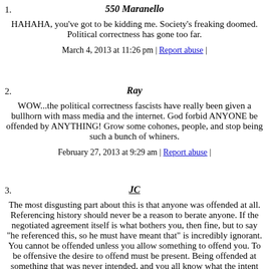1. 550 Maranello
HAHAHA, you've got to be kidding me. Society's freaking doomed. Political correctness has gone too far.
March 4, 2013 at 11:26 pm | Report abuse |
2. Ray
WOW...the political correctness fascists have really been given a bullhorn with mass media and the internet. God forbid ANYONE be offended by ANYTHING! Grow some cohones, people, and stop being such a bunch of whiners.
February 27, 2013 at 9:29 am | Report abuse |
3. JC
The most disgusting part about this is that anyone was offended at all. Referencing history should never be a reason to berate anyone. If the negotiated agreement itself is what bothers you, then fine, but to say "he referenced this, so he must have meant that" is incredibly ignorant. You cannot be offended unless you allow something to offend you. To be offensive the desire to offend must be present. Being offended at something that was never intended, and you all know what the intent was, to be offensive is a demonstration